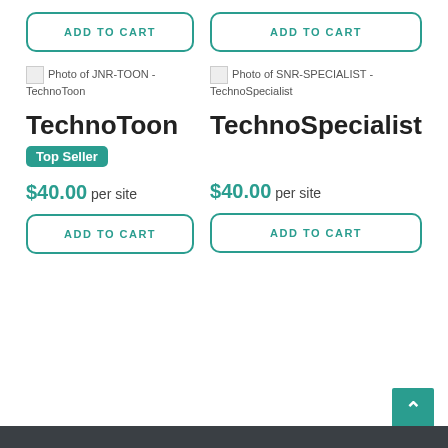[Figure (screenshot): ADD TO CART button for left product (top)]
[Figure (screenshot): ADD TO CART button for right product (top)]
[Figure (photo): Photo of JNR-TOON - TechnoToon (broken image placeholder)]
[Figure (photo): Photo of SNR-SPECIALIST - TechnoSpecialist (broken image placeholder)]
TechnoToon
Top Seller
$40.00 per site
TechnoSpecialist
$40.00 per site
[Figure (screenshot): ADD TO CART button for left product (bottom)]
[Figure (screenshot): ADD TO CART button for right product (bottom)]